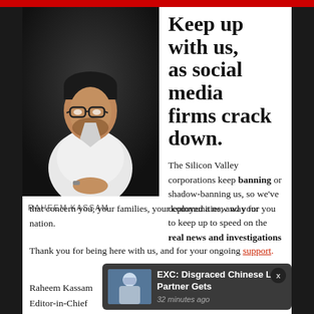[Figure (photo): Portrait of Raheem Kassam, a man in a white shirt with glasses, dark background]
RAHEEM KASSAM
Keep up with us, as social media firms crack down.
The Silicon Valley corporations keep banning or shadow-banning us, so we've deployed a new way for you to keep up to speed on the real news and investigations that concern you, your families, your communities, and your nation.
Thank you for being here with us, and for your ongoing support.
Raheem Kassam
Editor-in-Chief
[Figure (screenshot): Push notification: EXC: Disgraced Chinese Lab Partner Gets — 32 minutes ago, with thumbnail of a person in protective gear]